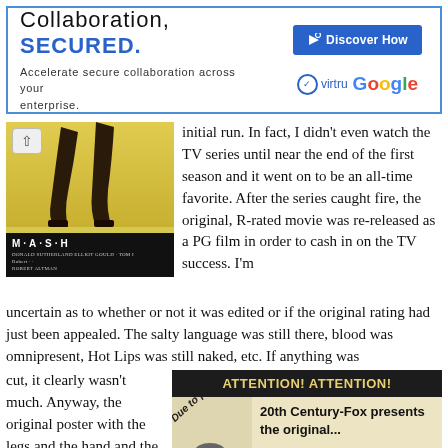[Figure (other): Advertisement banner for Virtru and Google: 'Collaboration, SECURED. Accelerate secure collaboration across your enterprise.' with Discover How button, Virtru and Google logos.]
[Figure (photo): MASH movie poster showing woman's legs against yellow background with MASH title and credits in black panel at bottom]
initial run. In fact, I didn't even watch the TV series until near the end of the first season and it went on to be an all-time favorite. After the series caught fire, the original, R-rated movie was re-released as a PG film in order to cash in on the TV success. I'm uncertain as to whether or not it was edited or if the original rating had just been appealed. The salty language was still there, blood was omnipresent, Hot Lips was still naked, etc. If anything was cut, it clearly wasn't much. Anyway, the original poster with the legs and the hand and the peace sign is
[Figure (photo): MASH re-release advertisement: 'ATTENTION! ATTENTION! Due to popular demand 20th Century-Fox presents the original... M*A*S*H. Roar once again with' with figure of soldier with megaphone.]